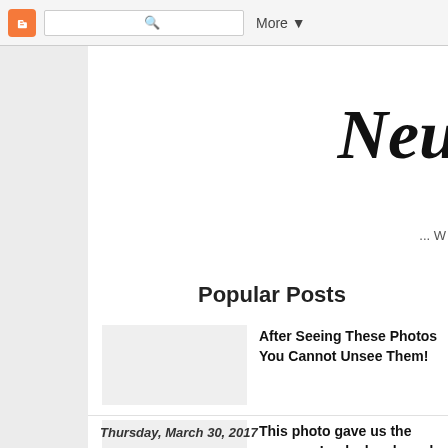Blogger navigation bar with search and More button
Ne...
...W
Popular Posts
After Seeing These Photos You Cannot Unsee Them!
This photo gave us the creeps... Look closely and you'll see it
Thursday, March 30, 2017